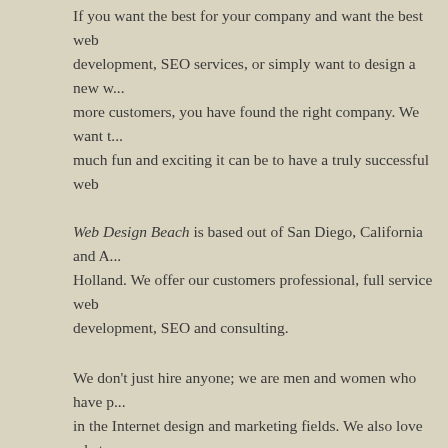If you want the best for your company and want the best web development, SEO services, or simply want to design a new w... more customers, you have found the right company. We want t... much fun and exciting it can be to have a truly successful web
Web Design Beach is based out of San Diego, California and A... Holland. We offer our customers professional, full service web development, SEO and consulting.
We don't just hire anyone; we are men and women who have p... in the Internet design and marketing fields. We also love what w... makes our work truly exciting!
WHAT CAN WE DO FOR YOU?
As our customer, you can expect us to work hard on your proje... you from thinking up a strategy for top notch web design, into i... strategy and launching the process in an optimal way, while usi... design.